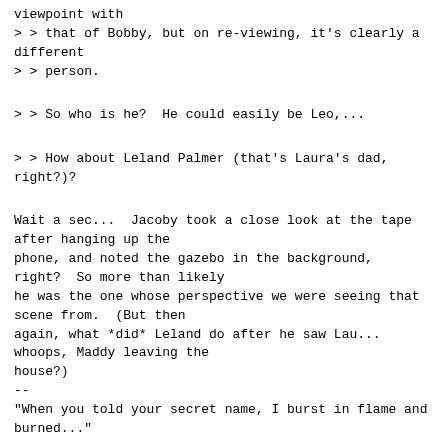viewpoint with
> > that of Bobby, but on re-viewing, it's clearly a different
> > person.
> > So who is he?  He could easily be Leo,...
> > How about Leland Palmer (that's Laura's dad, right?)?
Wait a sec...  Jacoby took a close look at the tape after hanging up the
phone, and noted the gazebo in the background, right?  So more than likely
he was the one whose perspective we were seeing that scene from.  (But then
again, what *did* Leland do after he saw Lau...
whoops, Maddy leaving the
house?)
--
"When you told your secret name, I burst in flame and burned..."